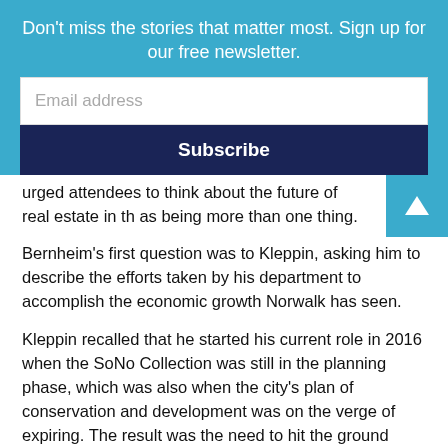Don't miss the stories that matter most. Sign up for our free newsletter.
Email address
Subscribe
urged attendees to think about the future of real estate in th… as being more than one thing.
Bernheim's first question was to Kleppin, asking him to describe the efforts taken by his department to accomplish the economic growth Norwalk has seen.
Kleppin recalled that he started his current role in 2016 when the SoNo Collection was still in the planning phase, which was also when the city's plan of conservation and development was on the verge of expiring. The result was the need to hit the ground running, but it quickly revealed to him the importance of proactive zoning approaches.